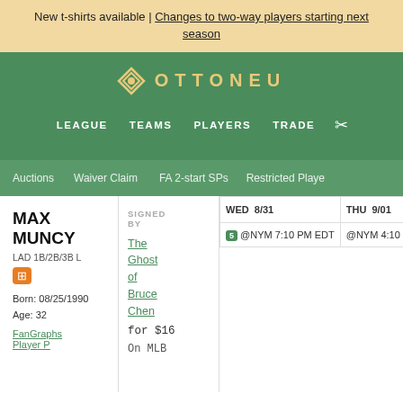New t-shirts available | Changes to two-way players starting next season
[Figure (logo): Ottoneu logo with diamond icon and OTTONEU text in gold on green background]
LEAGUE   TEAMS   PLAYERS   TRADE   [settings icon]
Auctions   Waiver Claim   FA 2-start SPs   Restricted Players
MAX MUNCY
LAD 1B/2B/3B L
Born: 08/25/1990
Age: 32
FanGraphs Player Page
SIGNED BY
The Ghost of Bruce Chen
for $16
On MLB
| WED 8/31 | THU 9/01 | FRI |
| --- | --- | --- |
| 5 @NYM 7:10 PM EDT | @NYM 4:10 PM EDT | SDP |